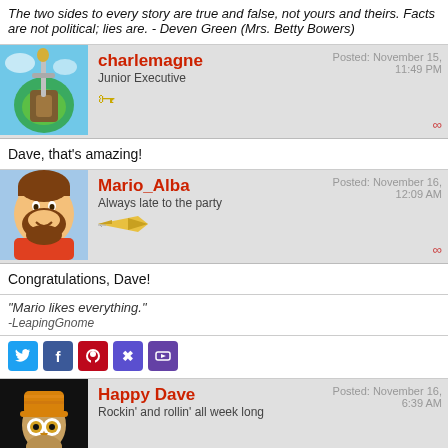The two sides to every story are true and false, not yours and theirs. Facts are not political; lies are. - Deven Green (Mrs. Betty Bowers)
charlemagne
Junior Executive
Posted: November 15, 11:49 PM
Dave, that's amazing!
Mario_Alba
Always late to the party
Posted: November 16, 12:09 AM
Congratulations, Dave!
"Mario likes everything."
-LeapingGnome
Happy Dave
Rockin' and rollin' all week long
Posted: November 16, 6:39 AM